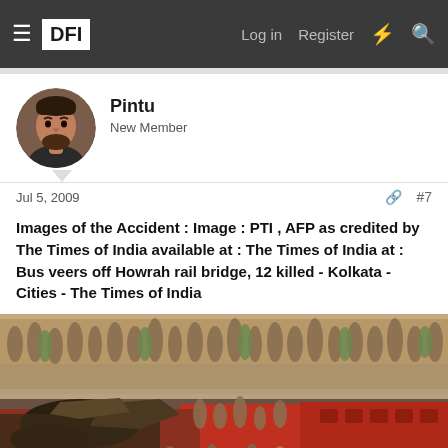DFI | Log in | Register
Pintu
New Member
Jul 5, 2009   #7
Images of the Accident : Image : PTI , AFP as credited by The Times of India available at : The Times of India at : Bus veers off Howrah rail bridge, 12 killed - Kolkata - Cities - The Times of India
[Figure (photo): Photograph of a crowd of people, including police officers, gathered around a badly damaged bus that has fallen off the Howrah rail bridge in Kolkata.]